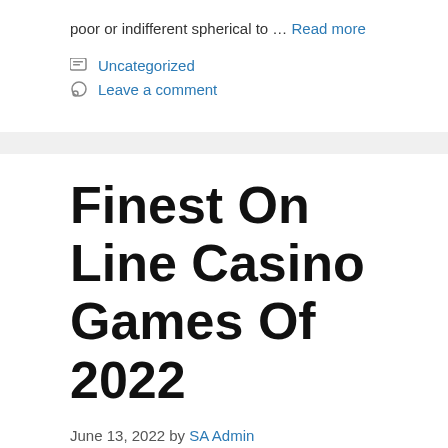poor or indifferent spherical to … Read more
Uncategorized
Leave a comment
Finest On Line Casino Games Of 2022
June 13, 2022 by SA Admin
Combine this with their intermittent action